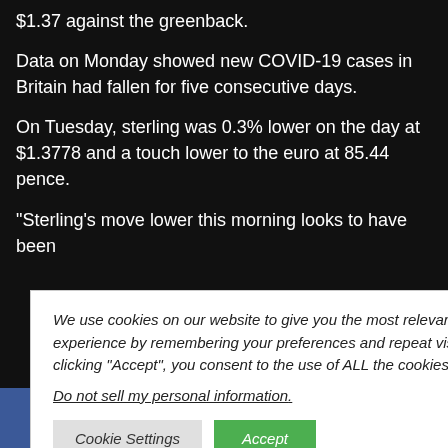$1.37 against the greenback.
Data on Monday showed new COVID-19 cases in Britain had fallen for five consecutive days.
On Tuesday, sterling was 0.3% lower on the day at $1.3778 and a touch lower to the euro at 85.44 pence.
“Sterling’s move lower this morning looks to have been
risk-averse tone
g, stemming
e tech stocks,”
at Caxton FX.
eating
e pound, which
We use cookies on our website to give you the most relevant experience by remembering your preferences and repeat visits. By clicking “Accept”, you consent to the use of ALL the cookies.
Do not sell my personal information.
[Figure (infographic): Social media sharing bar with Facebook, Twitter, Pinterest, SMS, and Share buttons]